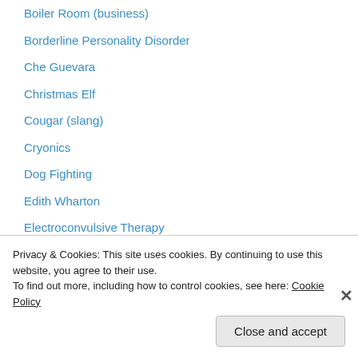Boiler Room (business)
Borderline Personality Disorder
Che Guevara
Christmas Elf
Cougar (slang)
Cryonics
Dog Fighting
Edith Wharton
Electroconvulsive Therapy
Elizabethan Era
Extended Family
Fast Food
Favela
Feminism
Privacy & Cookies: This site uses cookies. By continuing to use this website, you agree to their use.
To find out more, including how to control cookies, see here: Cookie Policy
Close and accept